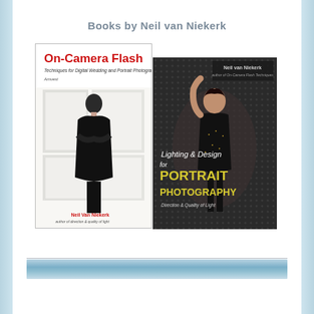Books by Neil van Niekerk
[Figure (illustration): Book cover: On-Camera Flash - Techniques for Digital Wedding and Portrait Photography by Neil Van Niekerk. White background with woman in black dress.]
[Figure (illustration): Book cover: Lighting & Design for Portrait Photography - Direction & Quality of Light by Neil van Niekerk. Dark dotted background with woman posing.]